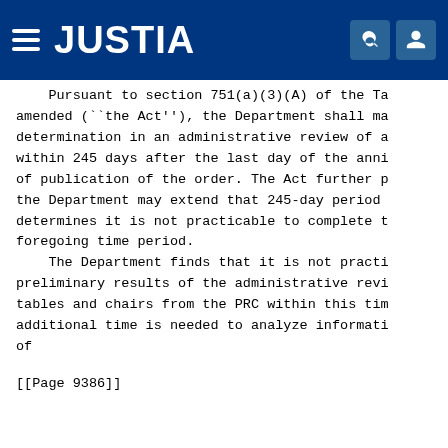JUSTIA
Pursuant to section 751(a)(3)(A) of the Ta amended (``the Act''), the Department shall ma determination in an administrative review of a within 245 days after the last day of the anni of publication of the order. The Act further p the Department may extend that 245-day period determines it is not practicable to complete t foregoing time period.
The Department finds that it is not practi preliminary results of the administrative revi tables and chairs from the PRC within this tim additional time is needed to analyze informati of
[[Page 9386]]